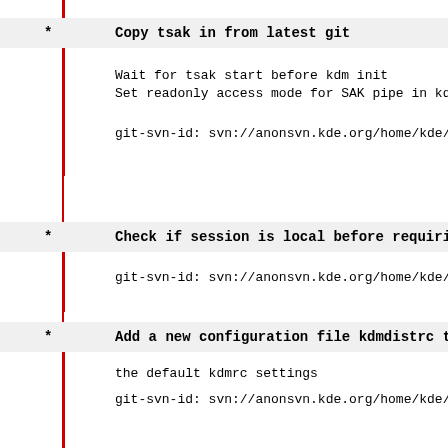* Copy tsak in from latest git
  Wait for tsak start before kdm init
  Set readonly access mode for SAK pipe in kdmtsak
  git-svn-id: svn://anonsvn.kde.org/home/kde/branc...
* Check if session is local before requiring usage
  git-svn-id: svn://anonsvn.kde.org/home/kde/branc...
* Add a new configuration file kdmdistrc to kdm th
  the default kdmrc settings
  git-svn-id: svn://anonsvn.kde.org/home/kde/branc...
* Fix kdm crash on remote->local login switch
  Detach from tsak process as early as possible
  git-svn-id: svn://anonsvn.kde.org/home/kde/branc...